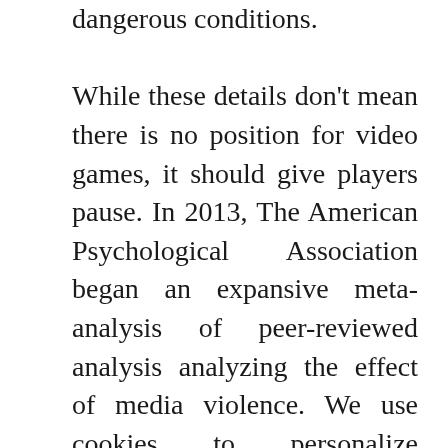dangerous conditions.

While these details don't mean there is no position for video games, it should give players pause. In 2013, The American Psychological Association began an expansive meta-analysis of peer-reviewed analysis analyzing the effect of media violence. We use cookies to personalize contents and adverts, supply social media options, and analyze entry to our web site. In your browser settings you'll be able to configure or disable this, respectively, and may delete any already placed cookies.